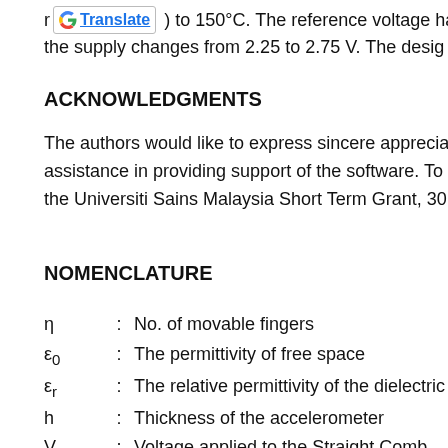r) to 150°C. The reference voltage ha the supply changes from 2.25 to 2.75 V. The desig
ACKNOWLEDGMENTS
The authors would like to express sincere apprecia assistance in providing support of the software. To the Universiti Sains Malaysia Short Term Grant, 30
NOMENCLATURE
η : No. of movable fingers
ε₀ : The permittivity of free space
εᵣ : The relative permittivity of the dielectric
h : Thickness of the accelerometer
V : Voltage applied to the Straight Comb Botto
y₀ : Initial capacitor length
: Displacement Malicitation